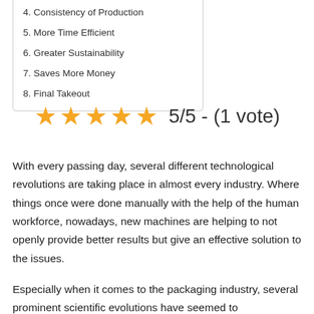4. Consistency of Production
5. More Time Efficient
6. Greater Sustainability
7. Saves More Money
8. Final Takeout
[Figure (other): 5 gold stars rating graphic with text '5/5 - (1 vote)']
With every passing day, several different technological revolutions are taking place in almost every industry. Where things once were done manually with the help of the human workforce, nowadays, new machines are helping to not openly provide better results but give an effective solution to the issues.
Especially when it comes to the packaging industry, several prominent scientific evolutions have seemed to